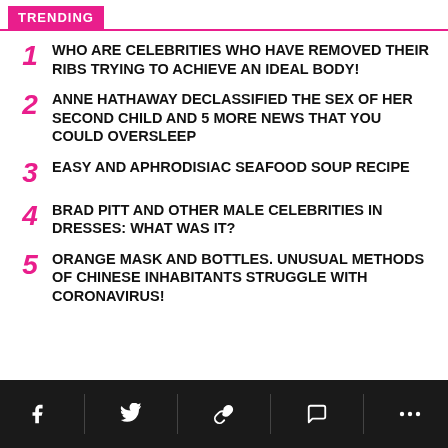TRENDING
1 WHO ARE CELEBRITIES WHO HAVE REMOVED THEIR RIBS TRYING TO ACHIEVE AN IDEAL BODY!
2 ANNE HATHAWAY DECLASSIFIED THE SEX OF HER SECOND CHILD AND 5 MORE NEWS THAT YOU COULD OVERSLEEP
3 EASY AND APHRODISIAC SEAFOOD SOUP RECIPE
4 BRAD PITT AND OTHER MALE CELEBRITIES IN DRESSES: WHAT WAS IT?
5 ORANGE MASK AND BOTTLES. UNUSUAL METHODS OF CHINESE INHABITANTS STRUGGLE WITH CORONAVIRUS!
Social share icons: Facebook, Twitter, Link, Comment, More